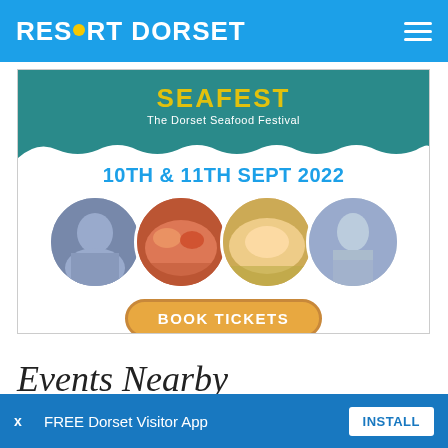RESORT DORSET
[Figure (infographic): Dorset Seafood Festival promotional banner showing '10TH & 11TH SEPT 2022' with circular food and chef photos and a 'BOOK TICKETS' button]
Events Nearby
x  FREE Dorset Visitor App  INSTALL